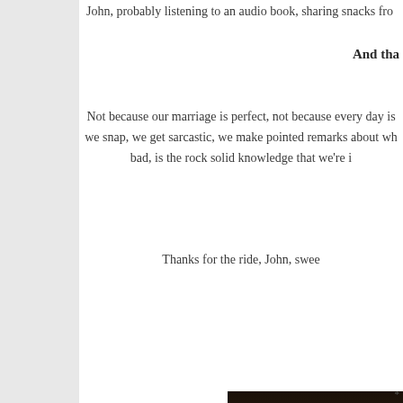John, probably listening to an audio book, sharing snacks fro...
And tha...
Not because our marriage is perfect, not because every day is... we snap, we get sarcastic, we make pointed remarks about wh... bad, is the rock solid knowledge that we're i...
Thanks for the ride, John, swee...
[Figure (photo): A dark, dimly lit interior photo showing what appears to be a couch or furniture corner, partially cut off at the right edge of the page.]
*